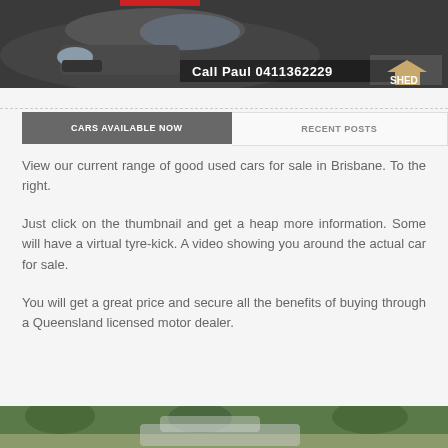[Figure (photo): Dark grey/charcoal colored car (SUV or sedan) shown from front-side angle with text overlay 'Call Paul 0411362229' and a logo in bottom right corner]
CARS AVAILABLE NOW
RECENT POSTS
View our current range of good used cars for sale in Brisbane. To the right.
Just click on the thumbnail and get a heap more information. Some will have a virtual tyre-kick. A video showing you around the actual car for sale.
You will get a great price and secure all the benefits of buying through a Queensland licensed motor dealer.
[Figure (photo): Partial view of another car photo at bottom of page, appears to show a car outdoors with trees in background]